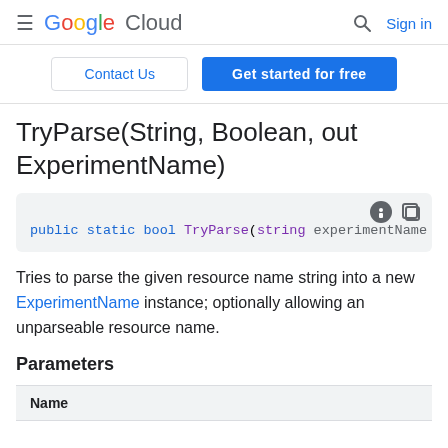Google Cloud | Sign in
Contact Us | Get started for free
TryParse(String, Boolean, out ExperimentName)
[Figure (screenshot): Code block showing: public static bool TryParse(string experimentName]
Tries to parse the given resource name string into a new ExperimentName instance; optionally allowing an unparseable resource name.
Parameters
| Name |
| --- |